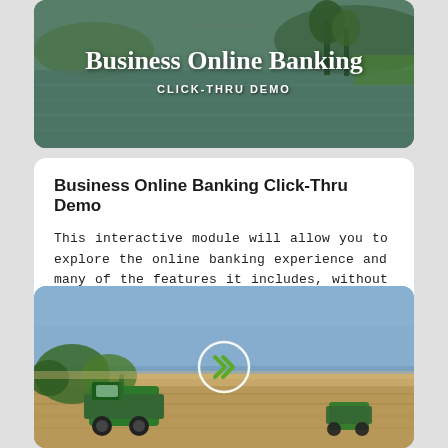[Figure (photo): Scenic outdoor photo with water/lake reflection and trees, serving as background for 'Business Online Banking' header card with text overlay]
Business Online Banking
CLICK-THRU DEMO
Business Online Banking Click-Thru Demo
This interactive module will allow you to explore the online banking experience and many of the features it includes, without an account. Simply click through the module and explore the menu options.
[Figure (photo): Agricultural scene with green combine harvesters working in a field under a blue sky, with a circular play/arrow button overlay in the center]